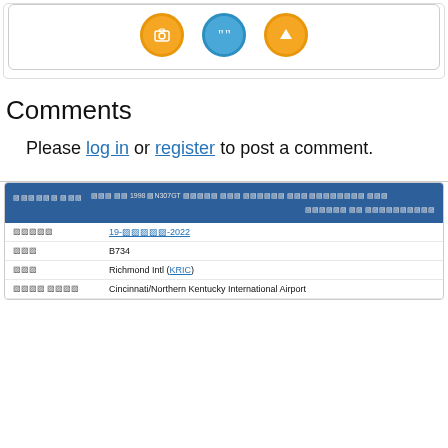[Figure (screenshot): Card with three icon circles: orange camera icon, blue quote/comment icon, orange upload arrow icon]
Comments
Please log in or register to post a comment.
| [garbled label] | [garbled text] 1998 [N307GT] [garbled] | [garbled] |
| --- | --- | --- |
| [garbled] | 19-[garbled]-2022 |  |
| [garbled] | B734 |  |
| [garbled] | Richmond Intl (KRIC) |  |
| [garbled label] | Cincinnati/Northern Kentucky International Airport |  |